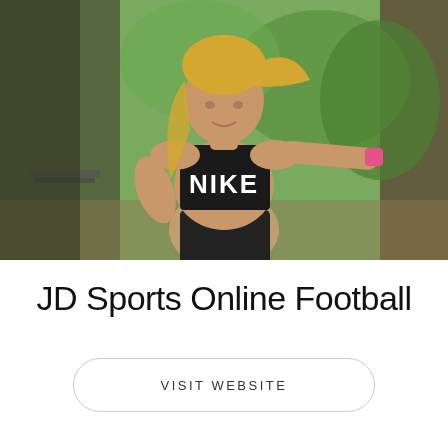[Figure (photo): Athletic blonde woman in a black Nike sports bra, exercising outdoors in a park setting, leaning against a tree with one hand. She has a toned physique and is wearing dark workout bottoms. Background shows green trees and park benches.]
JD Sports Online Football
VISIT WEBSITE